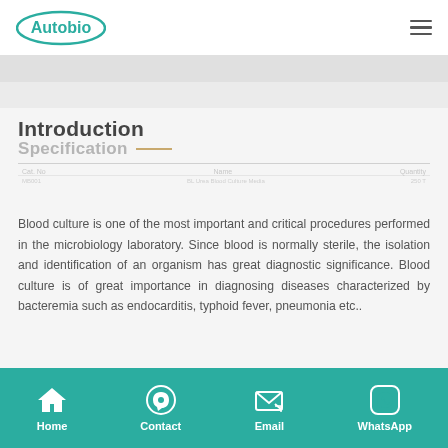Autobio
Introduction
Specification
Blood culture is one of the most important and critical procedures performed in the microbiology laboratory. Since blood is normally sterile, the isolation and identification of an organism has great diagnostic significance. Blood culture is of great importance in diagnosing diseases characterized by bacteremia such as endocarditis, typhoid fever, pneumonia etc..
Home  Contact  Email  WhatsApp